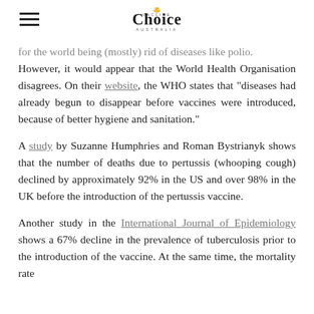Vaccine Choice Australia
for the world being (mostly) rid of diseases like polio. However, it would appear that the World Health Organisation disagrees. On their website, the WHO states that “diseases had already begun to disappear before vaccines were introduced, because of better hygiene and sanitation.”
A study by Suzanne Humphries and Roman Bystrianyk shows that the number of deaths due to pertussis (whooping cough) declined by approximately 92% in the US and over 98% in the UK before the introduction of the pertussis vaccine.
Another study in the International Journal of Epidemiology shows a 67% decline in the prevalence of tuberculosis prior to the introduction of the vaccine. At the same time, the mortality rate